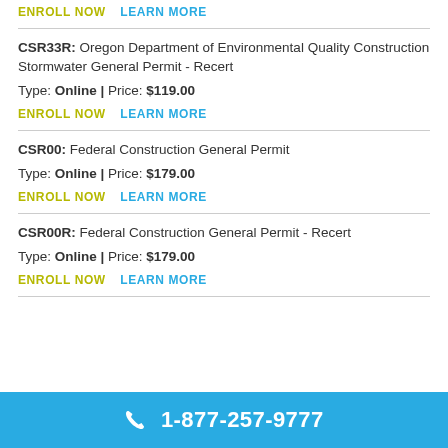ENROLL NOW   LEARN MORE
CSR33R: Oregon Department of Environmental Quality Construction Stormwater General Permit - Recert
Type: Online | Price: $119.00
ENROLL NOW   LEARN MORE
CSR00: Federal Construction General Permit
Type: Online | Price: $179.00
ENROLL NOW   LEARN MORE
CSR00R: Federal Construction General Permit - Recert
Type: Online | Price: $179.00
ENROLL NOW   LEARN MORE
1-877-257-9777